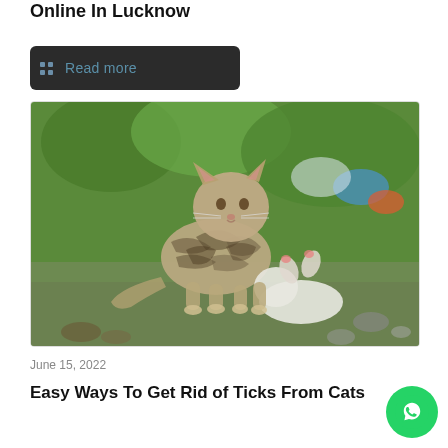Online In Lucknow
Read more
[Figure (photo): Two kittens playing on grass — one tabby cat standing over another white kitten lying on its back, outdoors with green grass and stones in background]
June 15, 2022
Easy Ways To Get Rid of Ticks From Cats